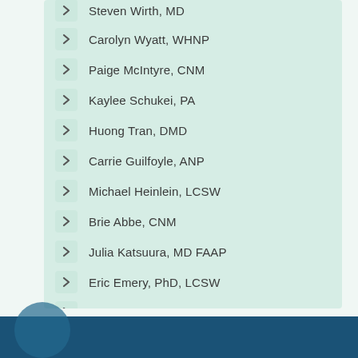Steven Wirth, MD
Carolyn Wyatt, WHNP
Paige McIntyre, CNM
Kaylee Schukei, PA
Huong Tran, DMD
Carrie Guilfoyle, ANP
Michael Heinlein, LCSW
Brie Abbe, CNM
Julia Katsuura, MD FAAP
Eric Emery, PhD, LCSW
Kate Hylan, CNM
Amita Graham, CNM